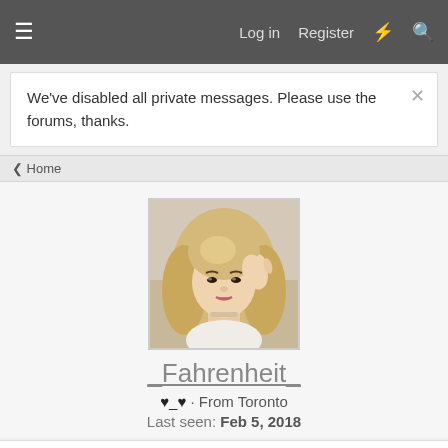Log in  Register
We've disabled all private messages. Please use the forums, thanks.
< Home
[Figure (photo): Profile photo of a young woman with long blonde wavy hair, posing with hand raised near face]
_Fahrenheit_
♥_♥ · From Toronto
Last seen: Feb 5, 2018
| Joined | Messages | Likes | Points |
| --- | --- | --- | --- |
| Sep 4, 2007 | 1,777 | 0 | 36 |
Find ▾